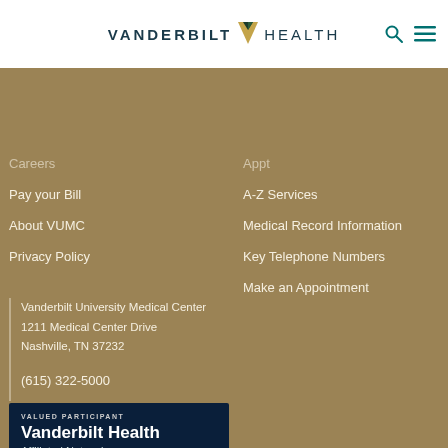[Figure (logo): Vanderbilt Health logo with stylized V icon between 'VANDERBILT' and 'HEALTH' text]
Careers
Pay your Bill
About VUMC
Privacy Policy
A-Z Services
Medical Record Information
Key Telephone Numbers
Make an Appointment
Vanderbilt University Medical Center
1211 Medical Center Drive
Nashville, TN 37232

(615) 322-5000
[Figure (logo): Vanderbilt Health Affiliated Network badge — dark navy background with 'VALUED PARTICIPANT' text, 'Vanderbilt Health' in large white bold text, 'Affiliated Network' below, and colorful stripe bar at bottom]